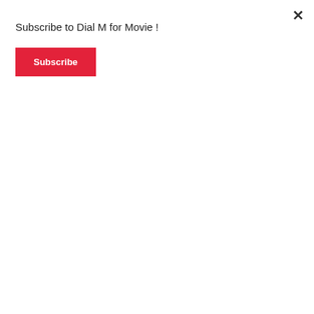Subscribe to Dial M for Movie !
Subscribe
Περηuzт Тuтar
[Figure (photo): Movie poster for a film featuring DARIO ARGENTO, FRANCOISE LEBRUN, ALEX LUTZ. Left half is red background, right half is yellow/orange background. Festival de Cannes Official Selection badge on the left side. A figure of a person is shown on the right/orange side.]